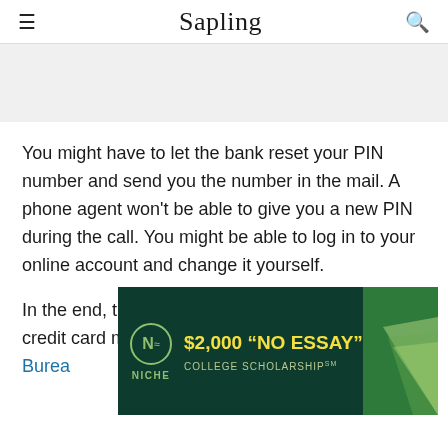Sapling
You might have to let the bank reset your PIN number and send you the number in the mail. A phone agent won't be able to give you a new PIN during the call. You might be able to log in to your online account and change it yourself.
In the end, the best layer of protection for your credit card n... s on your a... Bureau... t
[Figure (screenshot): Advertisement for Niche $2,000 'No Essay' College Scholarship overlaying the article text]